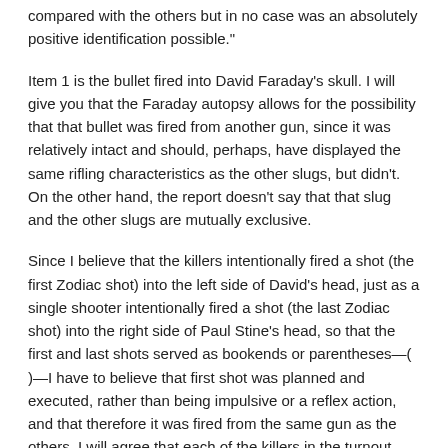compared with the others but in no case was an absolutely positive identification possible."
Item 1 is the bullet fired into David Faraday's skull. I will give you that the Faraday autopsy allows for the possibility that that bullet was fired from another gun, since it was relatively intact and should, perhaps, have displayed the same rifling characteristics as the other slugs, but didn't. On the other hand, the report doesn't say that that slug and the other slugs are mutually exclusive.
Since I believe that the killers intentionally fired a shot (the first Zodiac shot) into the left side of David's head, just as a single shooter intentionally fired a shot (the last Zodiac shot) into the right side of Paul Stine's head, so that the first and last shots served as bookends or parentheses—( )—I have to believe that first shot was planned and executed, rather than being impulsive or a reflex action, and that therefore it was fired from the same gun as the others. I will agree that each of the killers in the turnout likely was holding a gun, but only one of them was intended to go off.
"Let us take an alternative scenario that the young male Caucasians had left their vehicle for a brief time to 'hunt' for